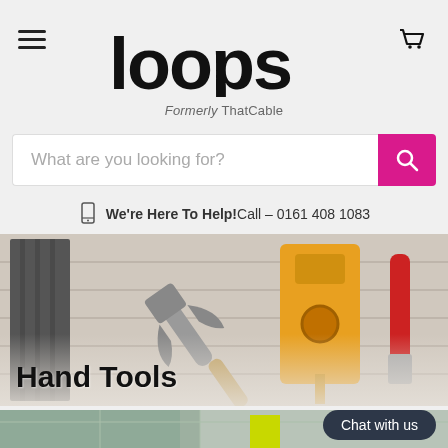Loops – Formerly ThatCable
What are you looking for?
We're Here To Help! Call – 0161 408 1083
[Figure (photo): Photo of hand tools including hammer, yellow clamp, and other tools on a wooden surface, with overlay text 'Hand Tools']
[Figure (photo): Partial photo of an interior space with a person in high-visibility vest, with 'Chat with us' button overlay]